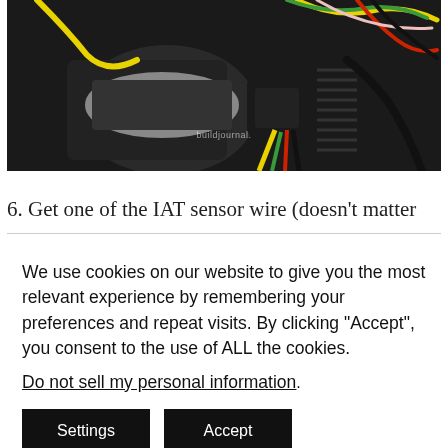[Figure (photo): Close-up photo of an IAT sensor with colorful wires (yellow, green, red, black, white) connected to a black plastic intake component on an engine. Watermark reads 'buildjournal.' in the center.]
6. Get one of the IAT sensor wire (doesn't matter
We use cookies on our website to give you the most relevant experience by remembering your preferences and repeat visits. By clicking "Accept", you consent to the use of ALL the cookies. Do not sell my personal information.